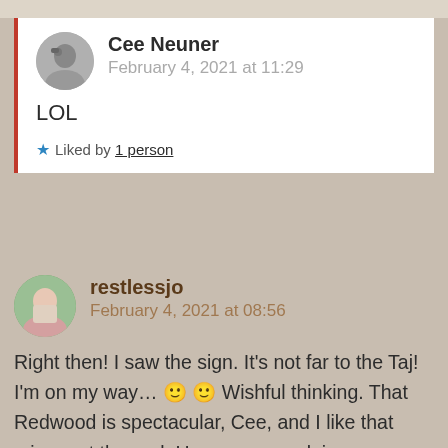Cee Neuner
February 4, 2021 at 11:29
LOL
★ Liked by 1 person
restlessjo
February 4, 2021 at 08:56
Right then! I saw the sign. It's not far to the Taj! I'm on my way… 🙂 🙂 Wishful thinking. That Redwood is spectacular, Cee, and I like that mix-up at the end. Hope your week is